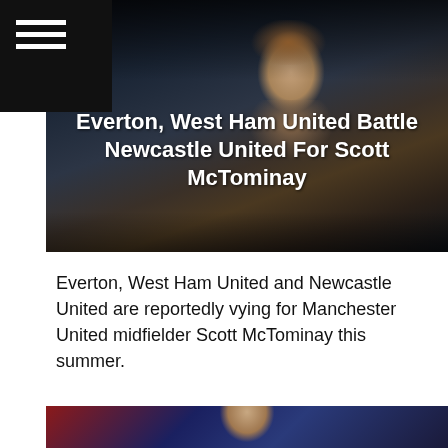≡
[Figure (photo): A footballer (Scott McTominay) photographed from below, wearing dark sports kit with red and green accents, against a dark background. The image is overlaid with the article headline.]
Everton, West Ham United Battle Newcastle United For Scott McTominay
Everton, West Ham United and Newcastle United are reportedly vying for Manchester United midfielder Scott McTominay this summer.
[Figure (photo): Partial view of another footballer in a blue kit, visible from the shoulders up, dark background with red elements.]